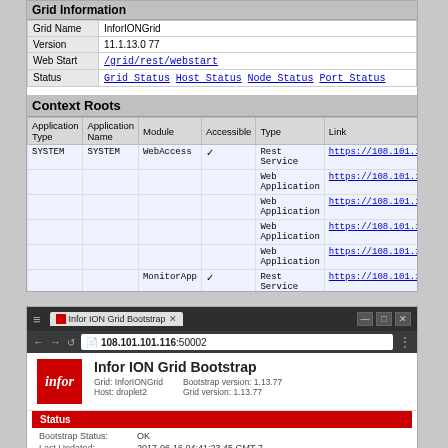Grid Information
|  |  |
| --- | --- |
| Grid Name | InforIONGrid |
| Version | 11.1.13.0 77 |
| Web Start | /grid/rest/webstart |
| Status | Grid Status  Host Status  Node Status  Port Status |
Context Roots
| Application Type | Application Name | Module | Accessible | Type | Link |
| --- | --- | --- | --- | --- | --- |
| SYSTEM | SYSTEM | WebAccess | ✓ | Rest Service | https://108.101.10... |
|  |  |  |  | Web Application | https://108.101.10... |
|  |  |  |  | Web Application | https://108.101.10... |
|  |  |  |  | Web Application | https://108.101.10... |
|  |  |  |  | Web Application | https://108.101.10... |
|  |  | MonitorApp | ✓ | Rest Service | https://108.101.10... |
|  |  |  |  | Web Application | https://108.101.10... |
[Figure (screenshot): Chrome browser window showing Infor ION Grid Bootstrap page at 108.101.101.116:50002]
Infor ION Grid Bootstrap
Grid: InforIONGrid  Bootstrap version: 1.13.77
Host: droplet2  Grid version: 1.13.77
|  |  |
| --- | --- |
| Bootstrap Status: | OK |
| Last Updated: | 2017-06-16 04:41:23.45 GMT-7 |
| Agent Status: | Started (2017-06-16 04:27:25.87 GMT-7) |